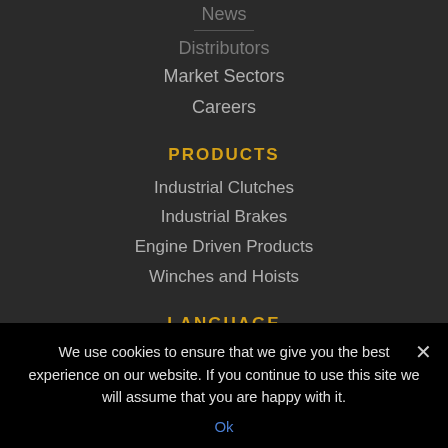News
Distributors
Market Sectors
Careers
PRODUCTS
Industrial Clutches
Industrial Brakes
Engine Driven Products
Winches and Hoists
LANGUAGE
Select Language
We use cookies to ensure that we give you the best experience on our website. If you continue to use this site we will assume that you are happy with it.
Ok